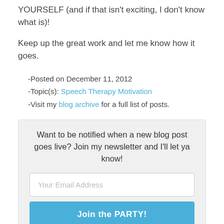YOURSELF (and if that isn't exciting, I don't know what is)!
Keep up the great work and let me know how it goes.
-Posted on December 11, 2012
-Topic(s): Speech Therapy Motivation
-Visit my blog archive for a full list of posts.
Want to be notified when a new blog post goes live? Join my newsletter and I'll let ya know!
Your Email Address
Join the PARTY!
100% privacy. I never spam.